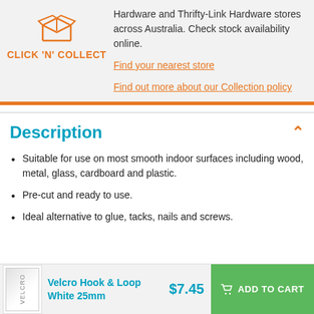[Figure (logo): Click 'N' Collect logo with orange box/package icon and orange bold text]
Hardware and Thrifty-Link Hardware stores across Australia. Check stock availability online.
Find your nearest store
Find out more about our Collection policy
Description
Suitable for use on most smooth indoor surfaces including wood, metal, glass, cardboard and plastic.
Pre-cut and ready to use.
Ideal alternative to glue, tacks, nails and screws.
Velcro Hook & Loop White 25mm
$7.45
ADD TO CART